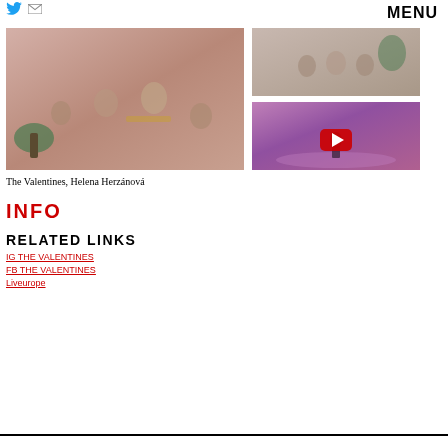[Figure (illustration): Twitter bird icon and mail envelope icon in top-left corner]
MENU
[Figure (photo): Band photo - The Valentines, four young men posed against a pink textured wall with plants, one sitting on a yellow chair]
[Figure (photo): Smaller band photo - three people seated on chairs against a pink background]
[Figure (photo): Video thumbnail - performer on stage under pink/purple lighting with a YouTube play button overlay]
The Valentines, Helena Herzánová
INFO
RELATED LINKS
IG THE VALENTINES
FB THE VALENTINES
Liveurope